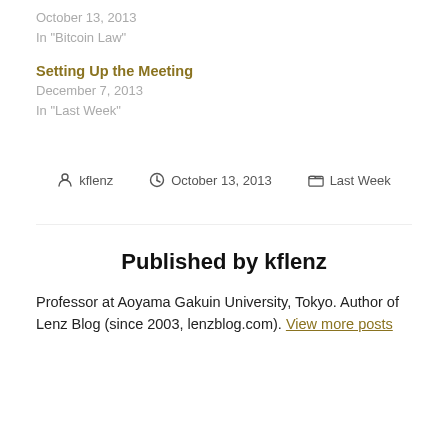October 13, 2013
In "Bitcoin Law"
Setting Up the Meeting
December 7, 2013
In "Last Week"
By kflenz  October 13, 2013  Last Week
Published by kflenz
Professor at Aoyama Gakuin University, Tokyo. Author of Lenz Blog (since 2003, lenzblog.com). View more posts